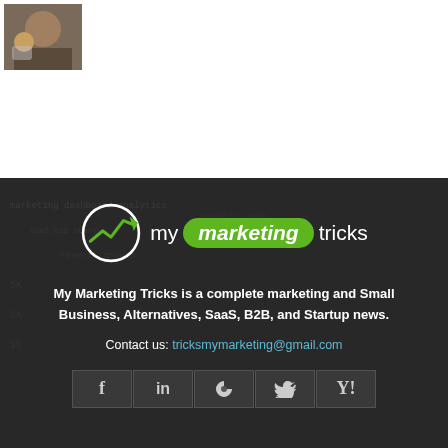[Figure (photo): Small thumbnail image of a person with a coffee cup, partially visible at top left]
[Figure (logo): My Marketing Tricks logo: circle with upward trending arrow, 'my marketing tricks' text where 'marketing' is in a green pill/oval shape]
My Marketing Tricks is a complete marketing and Small Business, Alternatives, SaaS, B2B, and Startup news.
Contact us: tricksmymarketing@gmail.com
[Figure (infographic): Row of social media icons: Facebook (f), LinkedIn (in), RSS feed, Twitter bird, Yahoo (Y!)]